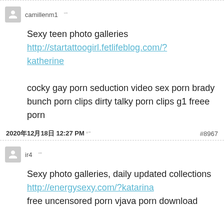camillenm1
Sexy teen photo galleries
http://startattoogirl.fetlifeblog.com/?katherine

cocky gay porn seduction video sex porn brady bunch porn clips dirty talky porn clips g1 freee porn
2020年12月18日 12:27 PM   #8967
ir4
Sexy photo galleries, daily updated collections
http://energysexy.com/?katarina
free uncensored porn vjava porn download